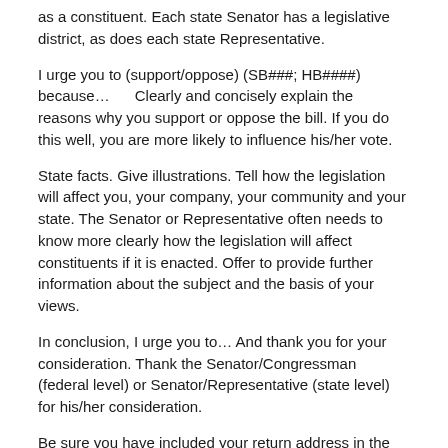as a constituent. Each state Senator has a legislative district, as does each state Representative.
I urge you to (support/oppose) (SB###; HB####) because…      Clearly and concisely explain the reasons why you support or oppose the bill. If you do this well, you are more likely to influence his/her vote.
State facts. Give illustrations. Tell how the legislation will affect you, your company, your community and your state. The Senator or Representative often needs to know more clearly how the legislation will affect constituents if it is enacted. Offer to provide further information about the subject and the basis of your views.
In conclusion, I urge you to… And thank you for your consideration. Thank the Senator/Congressman (federal level) or Senator/Representative (state level) for his/her consideration.
Be sure you have included your return address in the upper right hand corner if you are not using company letterhead.